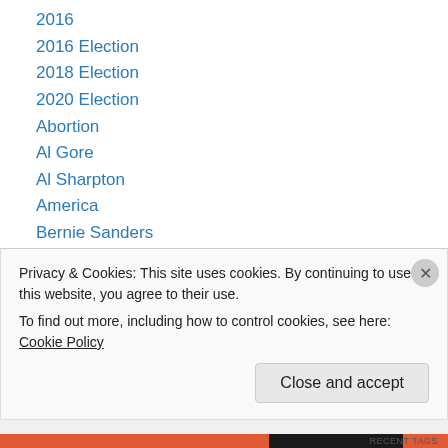2016
2016 Election
2018 Election
2020 Election
Abortion
Al Gore
Al Sharpton
America
Bernie Sanders
BIG GOVERNMENT
Bill de Blasio
Bill Nye
Black Entitlement
Privacy & Cookies: This site uses cookies. By continuing to use this website, you agree to their use.
To find out more, including how to control cookies, see here: Cookie Policy
Close and accept